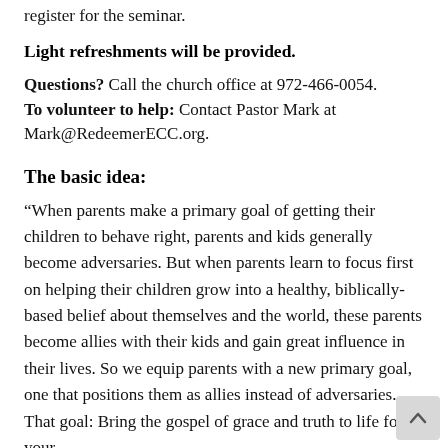register for the seminar.
Light refreshments will be provided.
Questions? Call the church office at 972-466-0054.
To volunteer to help: Contact Pastor Mark at Mark@RedeemerECC.org.
The basic idea:
“When parents make a primary goal of getting their children to behave right, parents and kids generally become adversaries. But when parents learn to focus first on helping their children grow into a healthy, biblically-based belief about themselves and the world, these parents become allies with their kids and gain great influence in their lives. So we equip parents with a new primary goal, one that positions them as allies instead of adversaries. That goal: Bring the gospel of grace and truth to life for your